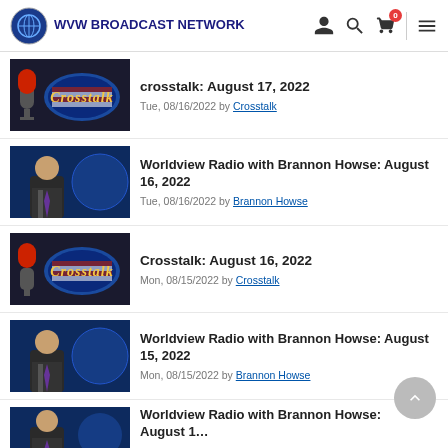WVW BROADCAST NETWORK
crosstalk: August 17, 2022 — Tue, 08/16/2022 by Crosstalk
Worldview Radio with Brannon Howse: August 16, 2022 — Tue, 08/16/2022 by Brannon Howse
Crosstalk: August 16, 2022 — Mon, 08/15/2022 by Crosstalk
Worldview Radio with Brannon Howse: August 15, 2022 — Mon, 08/15/2022 by Brannon Howse
Worldview Radio with Brannon Howse: August 1…